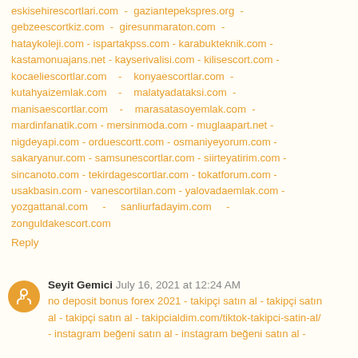eskisehirescortlari.com - gaziantepekspres.org - gebzeescortkiz.com - giresunmaraton.com - hataykoleji.com - ispartakpss.com - karabukteknik.com - kastamonuajans.net - kayserivalisi.com - kilisescort.com - kocaeliescortlar.com - konyaescortlar.com - kutahyaizemlak.com - malatyadataksi.com - manisaescortlar.com - marasatasoyemlak.com - mardinfanatik.com - mersinmoda.com - muglaapart.net - nigdeyapi.com - orduescortt.com - osmaniyeyorum.com - sakaryanur.com - samsunescortlar.com - siirteyatirim.com - sincanoto.com - tekirdagescortlar.com - tokatforum.com - usakbasin.com - vanescortilan.com - yalovadaemlak.com - yozgattanal.com - sanliurfadayim.com - zonguldakescort.com
Reply
Seyit Gemici July 16, 2021 at 12:24 AM
no deposit bonus forex 2021 - takipçi satın al - takipçi satın al - takipçi satın al - takipcialdim.com/tiktok-takipci-satin-al/ - instagram beğeni satın al - instagram beğeni satın al -